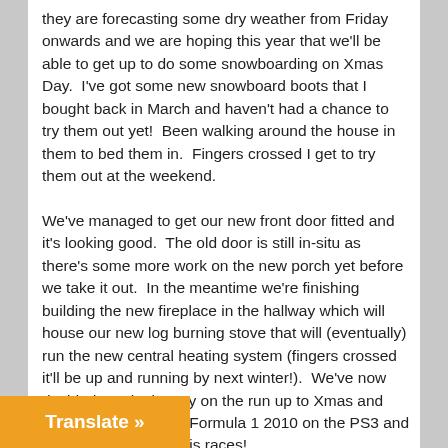they are forecasting some dry weather from Friday onwards and we are hoping this year that we'll be able to get up to do some snowboarding on Xmas Day.  I've got some new snowboard boots that I bought back in March and haven't had a chance to try them out yet!  Been walking around the house in them to bed them in.  Fingers crossed I get to try them out at the weekend.
We've managed to get our new front door fitted and it's looking good.  The old door is still in-situ as there's some more work on the new porch yet before we take it out.  In the meantime we're finishing building the new fireplace in the hallway which will house our new log burning stove that will (eventually) run the new central heating system (fingers crossed it'll be up and running by next winter!).  We've now decided to take it easy on the run up to Xmas and hubby is currently on Formula 1 2010 on the PS3 and doing very well with his races!
We've been wondering for quite a while if the local town repair the little street that runs down the